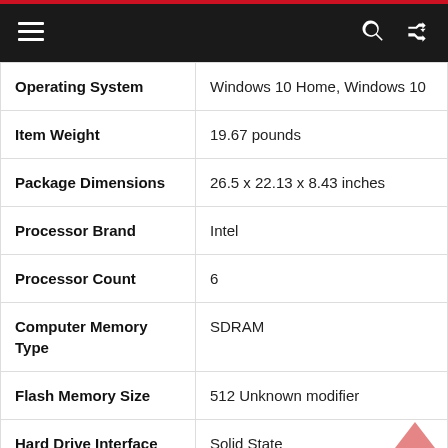Navigation bar with hamburger menu, search icon, and shuffle icon
| Attribute | Value |
| --- | --- |
| Operating System | Windows 10 Home, Windows 10 |
| Item Weight | 19.67 pounds |
| Package Dimensions | 26.5 x 22.13 x 8.43 inches |
| Processor Brand | Intel |
| Processor Count | 6 |
| Computer Memory Type | SDRAM |
| Flash Memory Size | 512 Unknown modifier |
| Hard Drive Interface | Solid State |